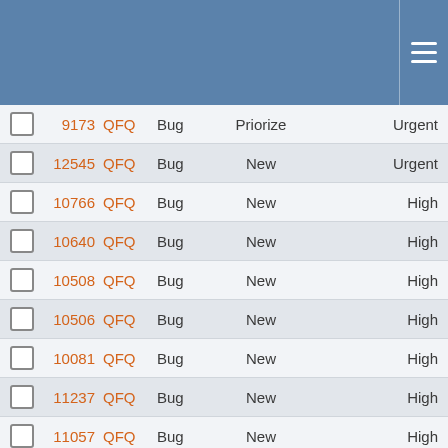|  | ID | Tag | Type | Status | Priority |
| --- | --- | --- | --- | --- | --- |
|  | 9173 | QFQ | Bug | Priorize | Urgent |
|  | 12545 | QFQ | Bug | New | Urgent |
|  | 10766 | QFQ | Bug | New | High |
|  | 10640 | QFQ | Bug | New | High |
|  | 10508 | QFQ | Bug | New | High |
|  | 10506 | QFQ | Bug | New | High |
|  | 10081 | QFQ | Bug | New | High |
|  | 11237 | QFQ | Bug | New | High |
|  | 11057 | QFQ | Bug | New | High |